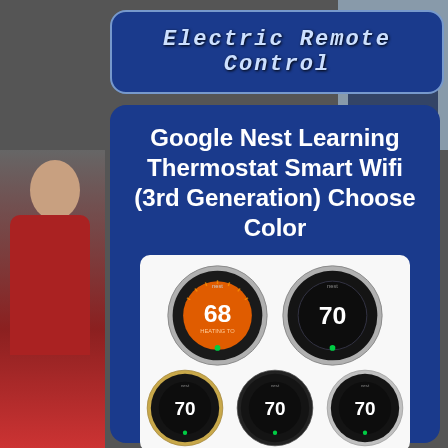Electric Remote Control
Google Nest Learning Thermostat Smart Wifi (3rd Generation) Choose Color
[Figure (photo): Five Google Nest Learning Thermostat models shown in two rows: top row has one with orange display showing 68 and one with dark display showing 70; bottom row has three thermostats all showing 70, with various ring color finishes (steel, champagne, copper/black).]